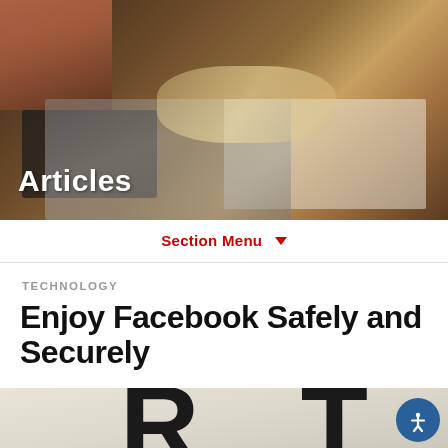[Figure (photo): Hero banner photo showing a person's hands near a keyboard with glasses resting on documents, wooden desk surface visible, dark tablet device in foreground]
Articles
Section Menu ▼
TECHNOLOGY
Enjoy Facebook Safely and Securely
[Figure (photo): Close-up photo of keyboard keys showing the letters R and T in large bold black font on cream/beige colored keys]